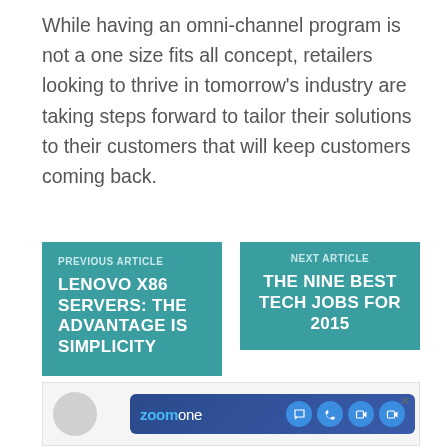While having an omni-channel program is not a one size fits all concept, retailers looking to thrive in tomorrow's industry are taking steps forward to tailor their solutions to their customers that will keep customers coming back.
PREVIOUS ARTICLE
LENOVO X86 SERVERS: THE ADVANTAGE IS SIMPLICITY
NEXT ARTICLE
THE NINE BEST TECH JOBS FOR 2015
[Figure (screenshot): Advertisement box with a gray avatar circle and a ZoomOne app bar with blue background showing the ZoomOne logo and communication icons (chat, phone, video, camera).]